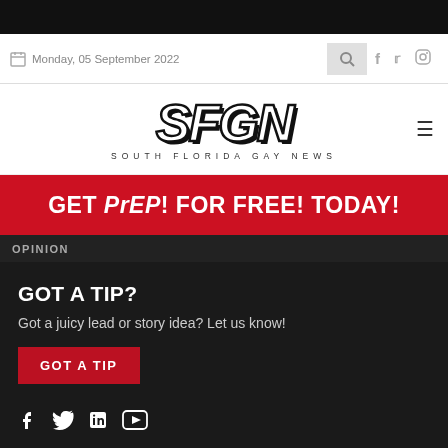Monday, 05 September 2022
[Figure (logo): SFGN South Florida Gay News logo with large italic bold SFGN text and tagline SOUTH FLORIDA GAY NEWS]
[Figure (infographic): Red banner advertisement: GET PrEP! FOR FREE! TODAY!]
OPINION
GOT A TIP?
Got a juicy lead or story idea? Let us know!
GOT A TIP
[Figure (infographic): Social media icons: Facebook, Twitter, LinkedIn, YouTube]